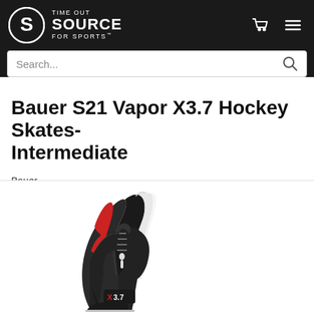Time Out Source For Sports
Bauer S21 Vapor X3.7 Hockey Skates- Intermediate
Bauer
[Figure (photo): Photo of Bauer S21 Vapor X3.7 hockey skate, black with red accents, shown from upper boot perspective with X3.7 branding visible on the lower boot.]